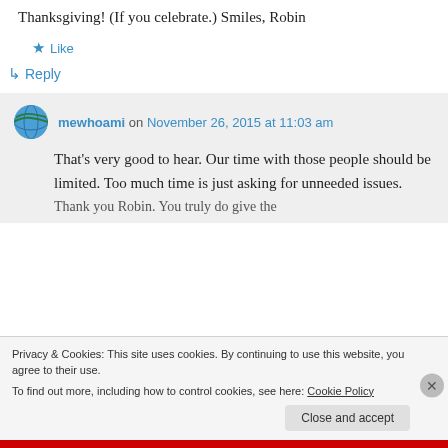Thanksgiving! (If you celebrate.) Smiles, Robin
★ Like
↳ Reply
mewhoami on November 26, 2015 at 11:03 am
That's very good to hear. Our time with those people should be limited. Too much time is just asking for unneeded issues.
Privacy & Cookies: This site uses cookies. By continuing to use this website, you agree to their use.
To find out more, including how to control cookies, see here: Cookie Policy
Close and accept